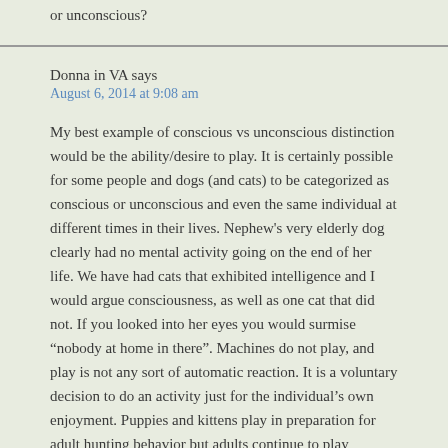or unconscious?
Donna in VA says
August 6, 2014 at 9:08 am
My best example of conscious vs unconscious distinction would be the ability/desire to play. It is certainly possible for some people and dogs (and cats) to be categorized as conscious or unconscious and even the same individual at different times in their lives. Nephew’s very elderly dog clearly had no mental activity going on the end of her life. We have had cats that exhibited intelligence and I would argue consciousness, as well as one cat that did not. If you looked into her eyes you would surmise “nobody at home in there”. Machines do not play, and play is not any sort of automatic reaction. It is a voluntary decision to do an activity just for the individual’s own enjoyment. Puppies and kittens play in preparation for adult hunting behavior but adults continue to play because they enjoy it.